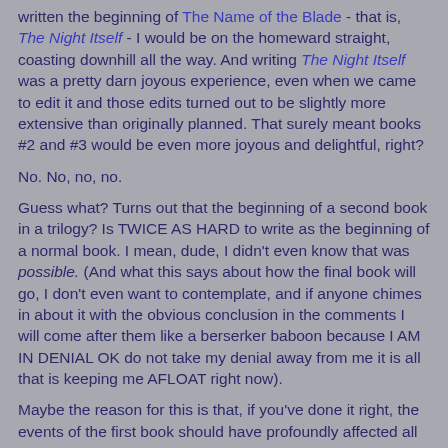written the beginning of The Name of the Blade - that is, The Night Itself - I would be on the homeward straight, coasting downhill all the way. And writing The Night Itself was a pretty darn joyous experience, even when we came to edit it and those edits turned out to be slightly more extensive than originally planned. That surely meant books #2 and #3 would be even more joyous and delightful, right?
No. No, no, no.
Guess what? Turns out that the beginning of a second book in a trilogy? Is TWICE AS HARD to write as the beginning of a normal book. I mean, dude, I didn't even know that was possible. (And what this says about how the final book will go, I don't even want to contemplate, and if anyone chimes in about it with the obvious conclusion in the comments I will come after them like a berserker baboon because I AM IN DENIAL OK do not take my denial away from me it is all that is keeping me AFLOAT right now).
Maybe the reason for this is that, if you've done it right, the events of the first book should have profoundly affected all